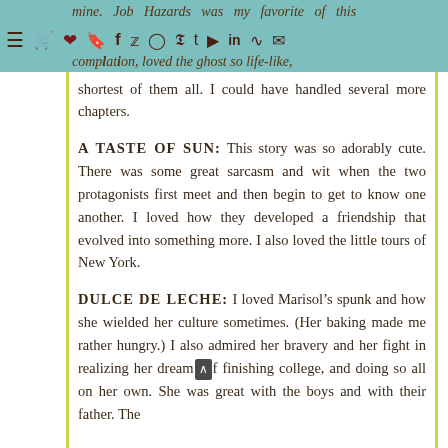mine. Job Hazards was my favorite of this compilation, loved the ghost so life-like, shortest of them all. I could have handled several more chapters.
A TASTE OF SUN: This story was so adorably cute. There was some great sarcasm and wit when the two protagonists first meet and then begin to get to know one another. I loved how they developed a friendship that evolved into something more. I also loved the little tours of New York.
DULCE DE LECHE: I loved Marisol’s spunk and how she wielded her culture sometimes. (Her baking made me rather hungry.) I also admired her bravery and her fight in realizing her dream of finishing college, and doing so all on her own. She was great with the boys and with their father. The